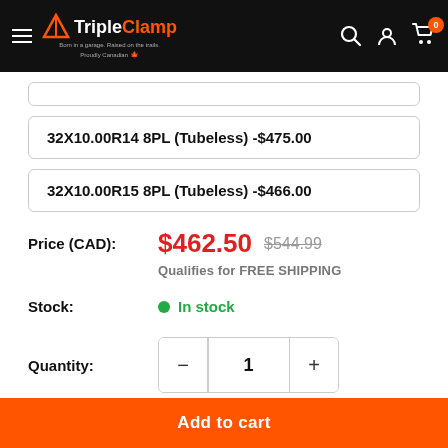TripleClamp - Born in a garage. Raised on the trails. Proudly Canadian
32X10.00R14 8PL (Tubeless) -$475.00
32X10.00R15 8PL (Tubeless) -$466.00
Price (CAD): $462.50  $544.99
Qualifies for FREE SHIPPING
Stock: In stock
Quantity: 1
Add to cart